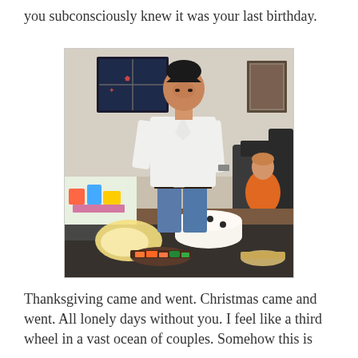you subconsciously knew it was your last birthday.
[Figure (photo): A man in a white short-sleeve shirt and jeans standing at a table with a birthday cake and food. A woman in an orange sweater sits on a couch in the background. The setting appears to be a home party.]
Thanksgiving came and went. Christmas came and went. All lonely days without you. I feel like a third wheel in a vast ocean of couples. Somehow this is